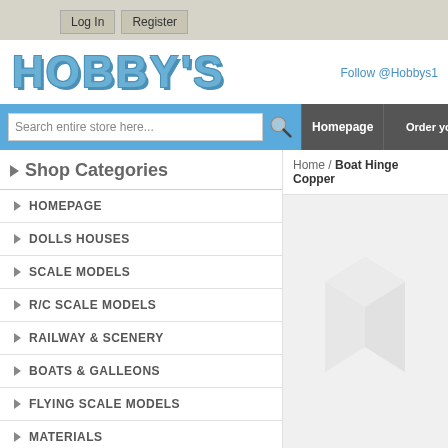Log In | Register
[Figure (logo): HOBBY'S logo in large blue block letters]
Follow @Hobbys1
Search entire store here...
Homepage | Order your Annual
Shop Categories
HOMEPAGE
DOLLS HOUSES
SCALE MODELS
R/C SCALE MODELS
RAILWAY & SCENERY
BOATS & GALLEONS
FLYING SCALE MODELS
MATERIALS
Home / Boat Hinge Copper
[Figure (photo): Product image placeholder with Magento logo watermark on grey background]